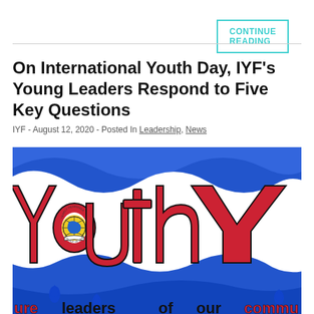CONTINUE READING
On International Youth Day, IYF's Young Leaders Respond to Five Key Questions
IYF - August 12, 2020 - Posted In Leadership, News
[Figure (illustration): Colorful hand-drawn artwork showing the word 'Youth' in large red letters on a blue background with a circular school emblem reading 'A Place of Learning'. The bottom shows text reading 'ure leaders of our commu...']